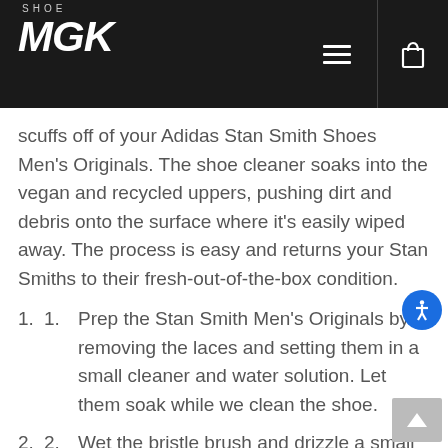SHOE MGK
scuffs off of your Adidas Stan Smith Shoes Men’s Originals. The shoe cleaner soaks into the vegan and recycled uppers, pushing dirt and debris onto the surface where it’s easily wiped away. The process is easy and returns your Stan Smiths to their fresh-out-of-the-box condition.
Prep the Stan Smith Men’s Originals by removing the laces and setting them in a small cleaner and water solution. Let them soak while we clean the shoe.
Wet the bristle brush and drizzle a small amount of cleaner over the brush. Next, apply the solution to the shoe in small circular motions, covering the shoe